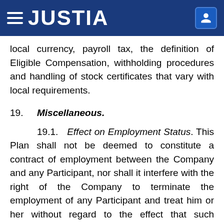JUSTIA
local currency, payroll tax, the definition of Eligible Compensation, withholding procedures and handling of stock certificates that vary with local requirements.
19. Miscellaneous.
19.1. Effect on Employment Status. This Plan shall not be deemed to constitute a contract of employment between the Company and any Participant, nor shall it interfere with the right of the Company to terminate the employment of any Participant and treat him or her without regard to the effect that such treatment might have upon him or her under this Plan.
19.2. Governing Law. This Plan, and all agreements hereunder, shall be construed in accordance with and governed by the laws of the State